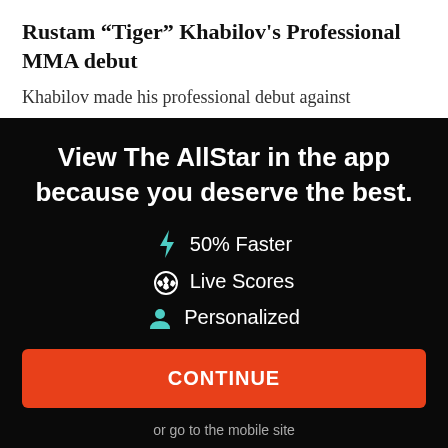Rustam “Tiger” Khabilov's Professional MMA debut
Khabilov made his professional debut against
View The AllStar in the app because you deserve the best.
⚡ 50% Faster
⚽ Live Scores
👤 Personalized
CONTINUE
or go to the mobile site